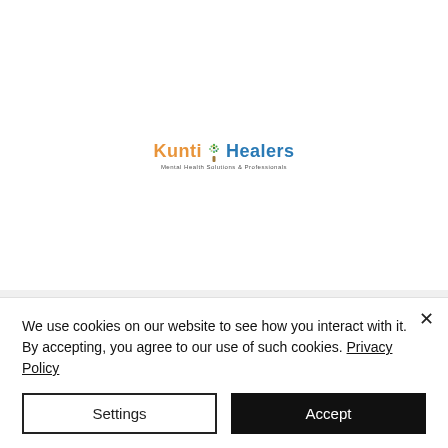[Figure (logo): Kunti Healers logo with a colorful tree icon, orange 'Kunti' and blue 'Healers' text, and tagline 'Mental Health Solutions & Professionals']
We use cookies on our website to see how you interact with it. By accepting, you agree to our use of such cookies. Privacy Policy
Settings
Accept